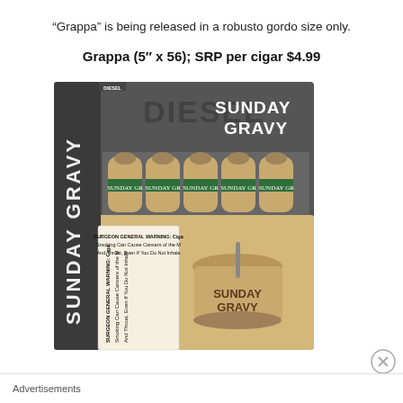“Grappa” is being released in a robusto gordo size only.
Grappa (5" x 56); SRP per cigar $4.99
[Figure (photo): Product photo of Diesel Sunday Gravy cigar box opened showing 5 cigars with green bands and a tan box with Sunday Gravy branding illustration and surgeon general warning label on the side]
Advertisements